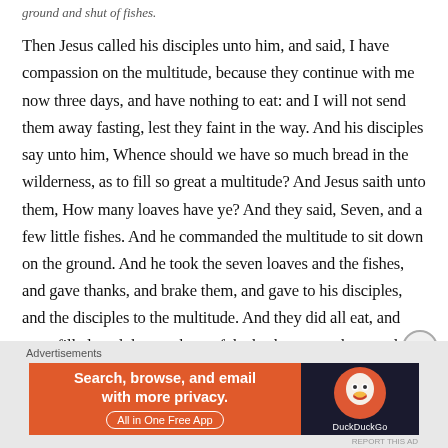ground and shut of fishes.
Then Jesus called his disciples unto him, and said, I have compassion on the multitude, because they continue with me now three days, and have nothing to eat: and I will not send them away fasting, lest they faint in the way. And his disciples say unto him, Whence should we have so much bread in the wilderness, as to fill so great a multitude? And Jesus saith unto them, How many loaves have ye? And they said, Seven, and a few little fishes. And he commanded the multitude to sit down on the ground. And he took the seven loaves and the fishes, and gave thanks, and brake them, and gave to his disciples, and the disciples to the multitude. And they did all eat, and were filled: and they took up of the broken meat that was left seven baskets full. And they that did eat were
Advertisements
[Figure (screenshot): DuckDuckGo advertisement banner: orange left panel with text 'Search, browse, and email with more privacy. All in One Free App', dark right panel with DuckDuckGo duck logo and brand name.]